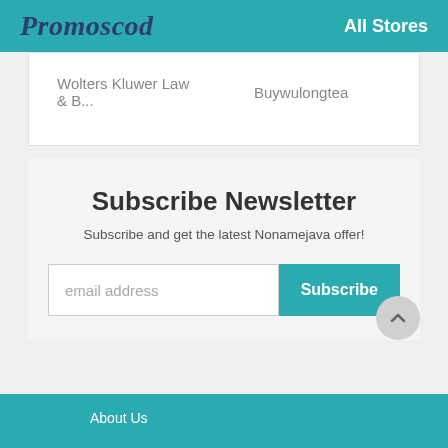Promoscod   All Stores
Wolters Kluwer Law & B...   Buywulongtea
Subscribe Newsletter
Subscribe and get the latest Nonamejava offer!
email address
Subscribe
About Us